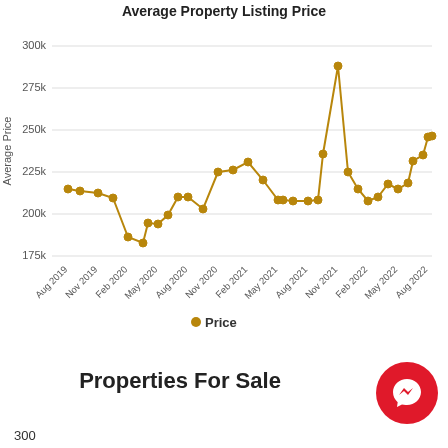[Figure (line-chart): Average Property Listing Price]
Price
Properties For Sale
300